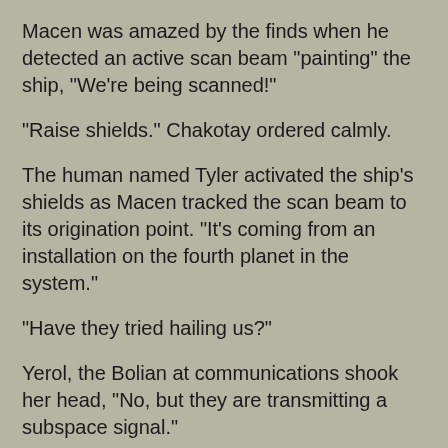Macen was amazed by the finds when he detected an active scan beam "painting" the ship, "We're being scanned!"
"Raise shields." Chakotay ordered calmly.
The human named Tyler activated the ship's shields as Macen tracked the scan beam to its origination point. "It's coming from an installation on the fourth planet in the system."
"Have they tried hailing us?"
Yerol, the Bolian at communications shook her head, "No, but they are transmitting a subspace signal."
"That'll be a distress call." Macen commented, "Ro's group should be able to garble it enough prevent identification."
"Understood." Chakotay said, sounding half distracted, "Seska, can you patch into the computers of any of these ships?"
She frowned as she studied her board, "No. Their